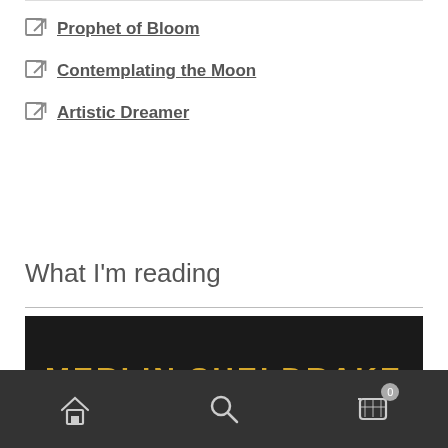Prophet of Bloom
Contemplating the Moon
Artistic Dreamer
What I'm reading
[Figure (photo): Book cover photograph showing Merlin Sheldrake book with colorful mushroom illustration on black background, with blue, red, white and yellow mushrooms depicted artistically.]
Home | Search | Cart (0)